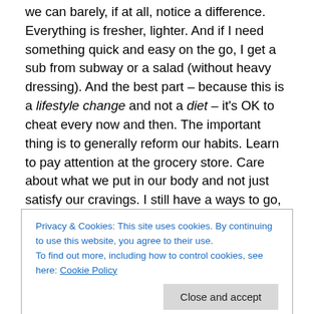we can barely, if at all, notice a difference. Everything is fresher, lighter. And if I need something quick and easy on the go, I get a sub from subway or a salad (without heavy dressing). And the best part – because this is a lifestyle change and not a diet – it's OK to cheat every now and then. The important thing is to generally reform our habits. Learn to pay attention at the grocery store. Care about what we put in our body and not just satisfy our cravings. I still have a ways to go, but I thought I would share my success so far as an inspiration to others that making healthy choices can make a tangible difference even in a
Privacy & Cookies: This site uses cookies. By continuing to use this website, you agree to their use. To find out more, including how to control cookies, see here: Cookie Policy
Close and accept
I'd love to hear some of your healthy eating tips and ideas